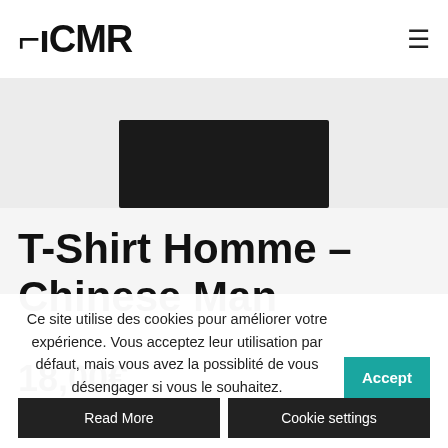TACMR
[Figure (photo): Partial product image — bottom portion of a black folded t-shirt on a light grey background]
T-Shirt Homme – Chinese Man
18,00€
Ce site utilise des cookies pour améliorer votre expérience. Vous acceptez leur utilisation par défaut, mais vous avez la possiblité de vous désengager si vous le souhaitez.
Accept
Read More
Cookie settings